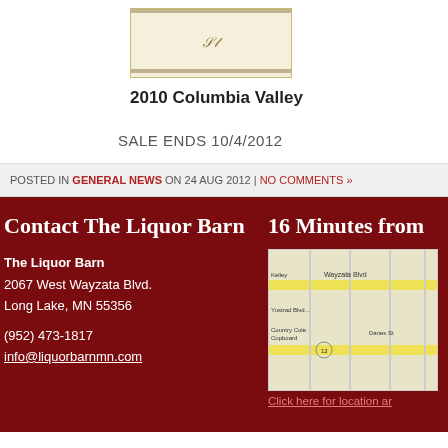[Figure (photo): Wine bottle label image for 2010 Columbia Valley, cream/ivory background with script signature]
2010 Columbia Valley
SALE ENDS 10/4/2012
POSTED IN GENERAL NEWS ON 24 AUG 2012 | NO COMMENTS »
Contact The Liquor Barn
The Liquor Barn
2067 West Wayzata Blvd.
Long Lake, MN 55356

(952) 473-1817
info@liquorbarnmn.com
16 Minutes from
[Figure (map): Street map showing Wayzata Blvd area near Long Lake, MN with yellow road highlights]
Click here for location and